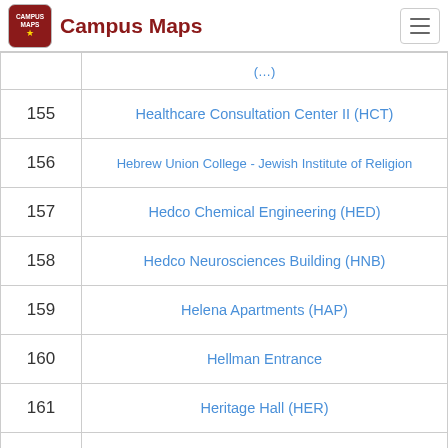Campus Maps
| # | Name |
| --- | --- |
| 155 | Healthcare Consultation Center II (HCT) |
| 156 | Hebrew Union College - Jewish Institute of Religion |
| 157 | Hedco Chemical Engineering (HED) |
| 158 | Hedco Neurosciences Building (HNB) |
| 159 | Helena Apartments (HAP) |
| 160 | Hellman Entrance |
| 161 | Heritage Hall (HER) |
| 162 | Herklotz Courtyard |
| 163 | Hillel Jewish Center |
| 164 | Hillview Apartments (HIL) |
| 165 | … |